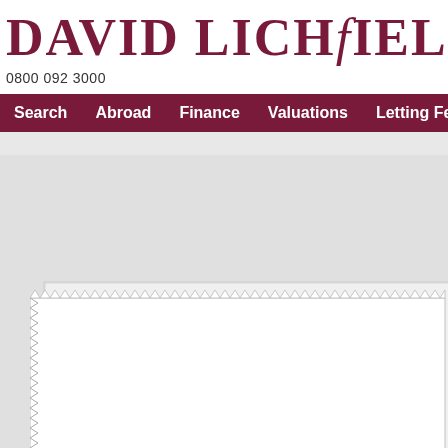DAVID LICHfIELD
0800 092 3000
Search   Abroad   Finance   Valuations   Letting Fee Inform
[Figure (illustration): Decorative paper/document stack with zigzag torn edge effect on a gray background]